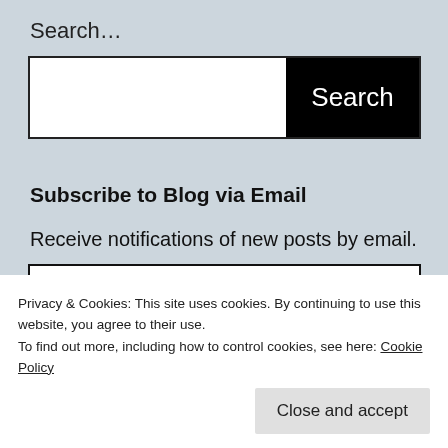Search…
[Figure (screenshot): Search input field with black Search button on the right]
Subscribe to Blog via Email
Receive notifications of new posts by email.
[Figure (screenshot): Email Address input field]
[Figure (illustration): Black circle partially visible, social media icons at bottom (Instagram, Facebook, Twitter)]
Privacy & Cookies: This site uses cookies. By continuing to use this website, you agree to their use.
To find out more, including how to control cookies, see here: Cookie Policy
Close and accept